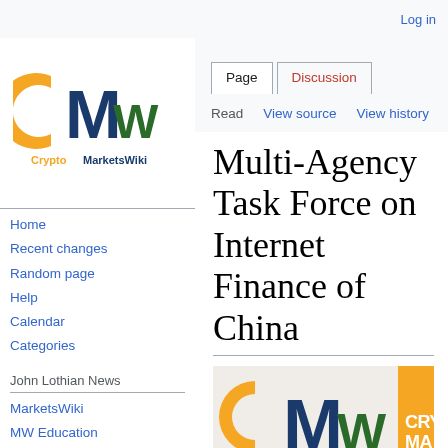Log in
[Figure (logo): CryptoMarketsWiki logo — orange C, dark blue M, green W letters forming 'CM' monogram with CryptoMarketsWiki text below]
Home
Recent changes
Random page
Help
Calendar
Categories
John Lothian News
MarketsWiki
MW Education
JohnLothianNews
Multi-Agency Task Force on Internet Finance of China
[Figure (logo): CryptoMarketsWiki banner logo with orange C, blue M, green W monogram and CRYPTOMARKETS text in orange on right]